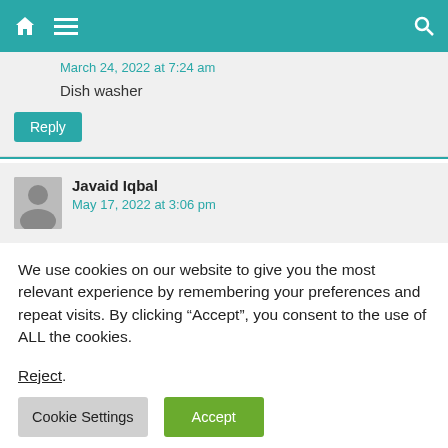Navigation bar with home, menu, and search icons
March 24, 2022 at 7:24 am
Dish washer
Reply
Javaid Iqbal
May 17, 2022 at 3:06 pm
We use cookies on our website to give you the most relevant experience by remembering your preferences and repeat visits. By clicking “Accept”, you consent to the use of ALL the cookies.
Reject.
Cookie Settings
Accept